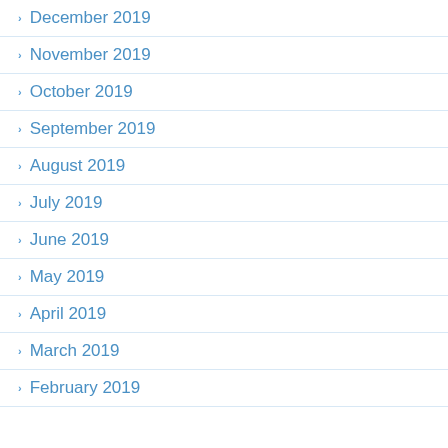December 2019
November 2019
October 2019
September 2019
August 2019
July 2019
June 2019
May 2019
April 2019
March 2019
February 2019